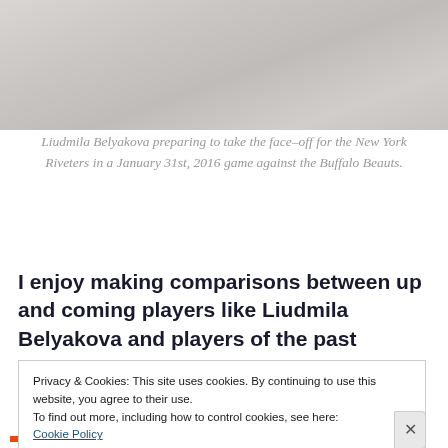[Figure (photo): A cropped photo showing a light gray/white fabric or jersey surface with subtle wrinkles and texture, appearing to be the top portion of a hockey uniform or cloth background.]
Liudmila Belyakova preparing to take the face-off for the New York Riveters in a January 31st, 2016 game against the Buffalo Beauts.
I enjoy making comparisons between up and coming players like Liudmila Belyakova and players of the past
Privacy & Cookies: This site uses cookies. By continuing to use this website, you agree to their use.
To find out more, including how to control cookies, see here:
Cookie Policy
Close and accept